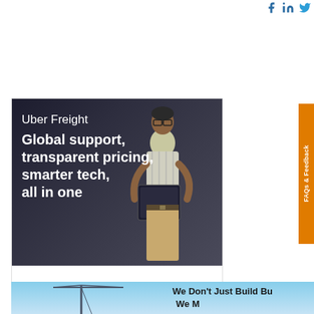Facebook LinkedIn Twitter social icons
[Figure (infographic): Uber Freight advertisement with dark background showing a woman holding a tablet in a warehouse. Text reads: Uber Freight - Global support, transparent pricing, smarter tech, all in one. Learn more →]
[Figure (infographic): Partial banner advertisement with blue sky background showing a crane tower and text beginning: We Don't Just Build Bu... We M...]